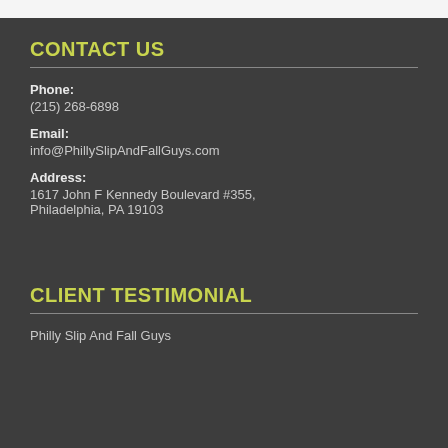CONTACT US
Phone:
(215) 268-6898
Email:
info@PhillySlipAndFallGuys.com
Address:
1617 John F Kennedy Boulevard #355,
Philadelphia, PA 19103
CLIENT TESTIMONIAL
Philly Slip And Fall Guys